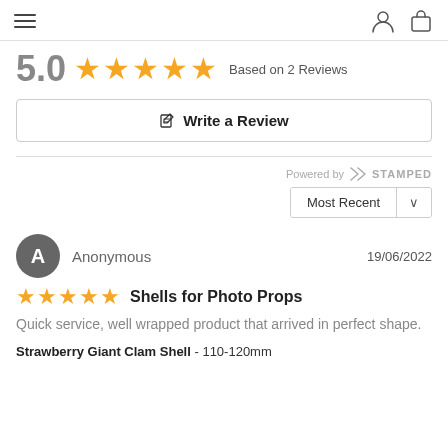Navigation header with hamburger menu and icons
5.0 ★★★★★ Based on 2 Reviews
✎ Write a Review
Powered by STAMPED
Most Recent ∨
Anonymous 19/06/2022
★★★★★ Shells for Photo Props
Quick service, well wrapped product that arrived in perfect shape.
Strawberry Giant Clam Shell - 110-120mm